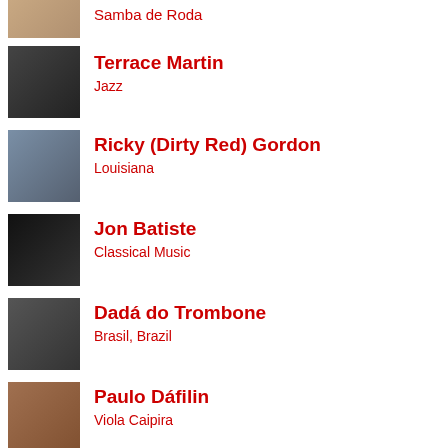Samba de Roda
Terrace Martin
Jazz
Ricky (Dirty Red) Gordon
Louisiana
Jon Batiste
Classical Music
Dadá do Trombone
Brasil, Brazil
Paulo Dáfilin
Viola Caipira
Joel Best
Character Artist
Terence Blanchard